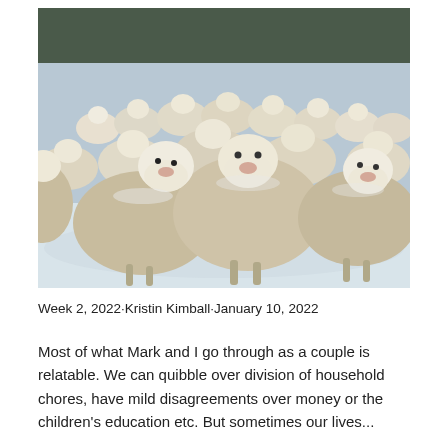[Figure (photo): A large flock of white woolly sheep standing in a snowy field, looking toward the camera. Dark pine trees are visible in the background. The sheep fill nearly the entire frame, with snow on the ground.]
Week 2, 2022∙Kristin Kimball∙January 10, 2022
Most of what Mark and I go through as a couple is relatable. We can quibble over division of household chores, have mild disagreements over money or the children's education etc. But sometimes our lives...